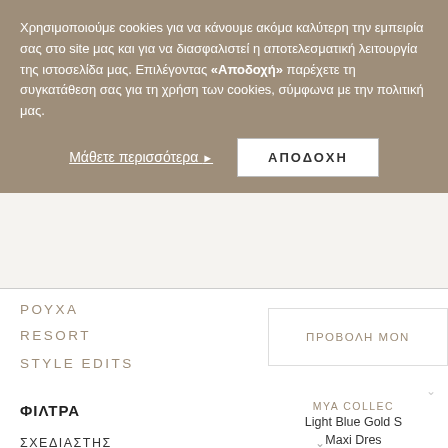Χρησιμοποιούμε cookies για να κάνουμε ακόμα καλύτερη την εμπειρία σας στο site μας και για να διασφαλιστεί η αποτελεσματική λειτουργία της ιστοσελίδα μας. Επιλέγοντας «Αποδοχή» παρέχετε τη συγκατάθεση σας για τη χρήση των cookies, σύμφωνα με την πολιτική μας.
Μάθετε περισσότερα ▶
ΑΠΟΔΟΧΗ
ΡΟΥΧΑ
RESORT
STYLE EDITS
ΠΡΟΒΟΛΗ ΜΟΝ
ΦΙΛΤΡΑ
MYA COLLEC
Light Blue Gold S Maxi Dres
€188 -10% €169
ΣΧΕΔΙΑΣΤΗΣ
ΧΡΩΜΑ
ΣΤΥΛ